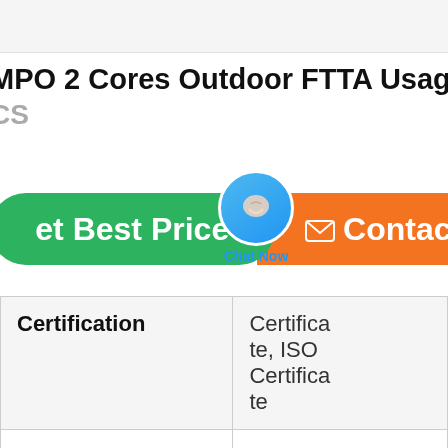MPO 2 Cores Outdoor FTTA Usage
CS
[Figure (screenshot): Green 'Get Best Price' button and orange 'Contact' button with a blue chat bubble icon labeled 'Chat Now' overlapping between them]
| Certification | Certificate, ISO Certificate |
| Delivery Time | 3-5days |